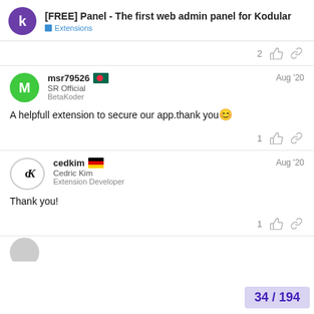[FREE] Panel - The first web admin panel for Kodular | Extensions
msr79526 🇧🇩 SR Official BetaKoder Aug '20 — A helpfull extension to secure our app.thank you 😊 — likes: 1
cedkim 🇩🇪 Cedric Kim Extension Developer Aug '20 — Thank you! — likes: 1
34 / 194